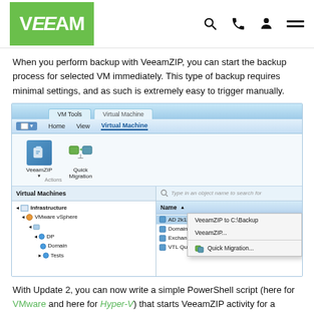Veeam logo header with navigation icons
When you perform backup with VeeamZIP, you can start the backup process for selected VM immediately. This type of backup requires minimal settings, and as such is extremely easy to trigger manually.
[Figure (screenshot): Veeam Backup & Replication UI screenshot showing VeeamZIP and Quick Migration buttons in the VM Tools ribbon, a Virtual Machines tree with Infrastructure > VMware vSphere > DP > Domain and Tests, a list of VMs including AD 2k12R2, Domain Us, Exchange, VTL Quad, and a right-click context menu with options: VeeamZIP to C:\Backup, VeeamZIP..., Quick Migration...]
With Update 2, you can now write a simple PowerShell script (here for VMware and here for Hyper-V) that starts VeeamZIP activity for a selected VM, and sets whatever schedule you want for it via Windows Scheduler. We have even created the following example script for you